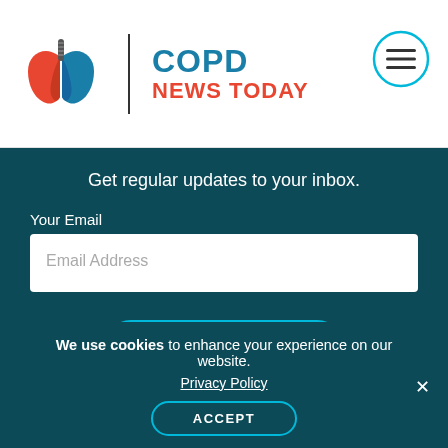[Figure (logo): COPD News Today logo with lungs illustration and hamburger menu icon]
Get regular updates to your inbox.
Your Email
Email Address
SUBSCRIBE
[Figure (logo): BioNews — We Are Rare logo with colorful circular icon]
We use cookies to enhance your experience on our website. Privacy Policy ACCEPT